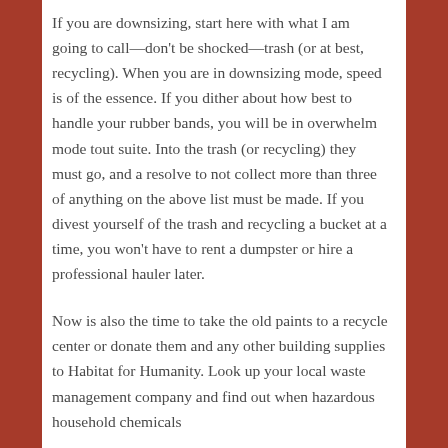If you are downsizing, start here with what I am going to call—don't be shocked—trash (or at best, recycling). When you are in downsizing mode, speed is of the essence. If you dither about how best to handle your rubber bands, you will be in overwhelm mode tout suite. Into the trash (or recycling) they must go, and a resolve to not collect more than three of anything on the above list must be made. If you divest yourself of the trash and recycling a bucket at a time, you won't have to rent a dumpster or hire a professional hauler later.
Now is also the time to take the old paints to a recycle center or donate them and any other building supplies to Habitat for Humanity. Look up your local waste management company and find out when hazardous household chemicals